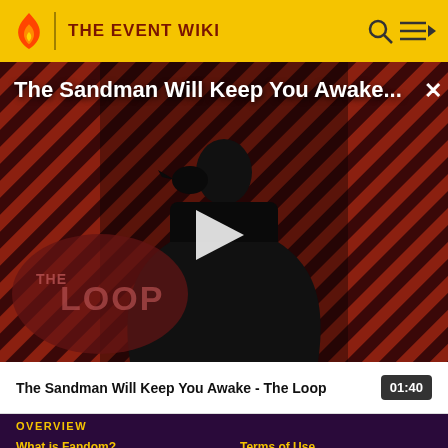THE EVENT WIKI
[Figure (screenshot): Video thumbnail showing a dark-cloaked figure (The Sandman character) against a diagonal red and dark striped background with 'THE LOOP' logo overlay. A play button triangle is centered on the image.]
The Sandman Will Keep You Awake...
The Sandman Will Keep You Awake - The Loop  01:40
OVERVIEW
What is Fandom?
Terms of Use